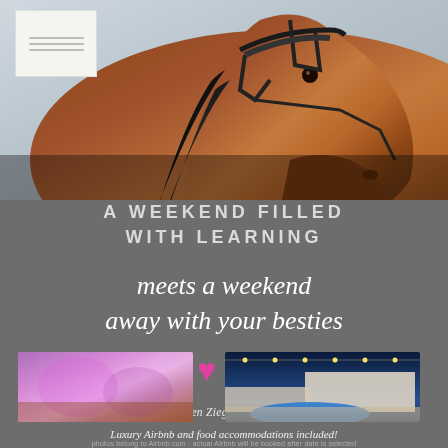[Figure (photo): Close-up photo of a chestnut horse head with bridle, postcard stamp area in upper left corner]
Hosted by Kirsten Ziegler & Cassidy Brooke
A WEEKEND FILLED WITH LEARNING
meets a weekend away with your besties
[Figure (photo): Two photos side by side: left shows a blurry colorful purple-lit interior room, right shows a nighttime exterior with pool and string lights. A pink heart overlays the center.]
Luxury Airbnb and food accommodations included!
photos belong to Airbnb.com - actual Airbnb will be booked after date is selected